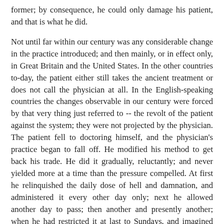former; by consequence, he could only damage his patient, and that is what he did.
Not until far within our century was any considerable change in the practice introduced; and then mainly, or in effect only, in Great Britain and the United States. In the other countries to-day, the patient either still takes the ancient treatment or does not call the physician at all. In the English-speaking countries the changes observable in our century were forced by that very thing just referred to -- the revolt of the patient against the system; they were not projected by the physician. The patient fell to doctoring himself, and the physician's practice began to fall off. He modified his method to get back his trade. He did it gradually, reluctantly; and never yielded more at a time than the pressure compelled. At first he relinquished the daily dose of hell and damnation, and administered it every other day only; next he allowed another day to pass; then another and presently another; when he had restricted it at last to Sundays, and imagined that now there would surely be a truce, the homeopath arrived on the field and made him abandon hell and damnation altogether, and administered Christ's love, and comfort, and charity and